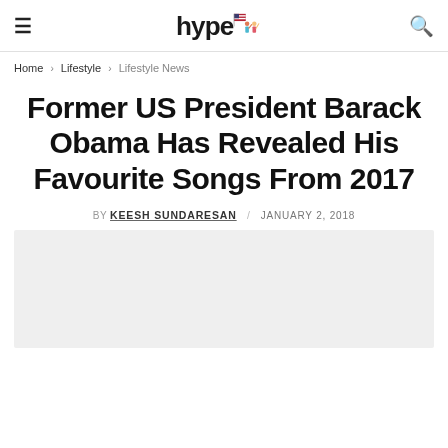hype [logo with flag and figures icon]
Home > Lifestyle > Lifestyle News
Former US President Barack Obama Has Revealed His Favourite Songs From 2017
BY KEESH SUNDARESAN / JANUARY 2, 2018
[Figure (photo): Light grey placeholder image at the bottom of the page]